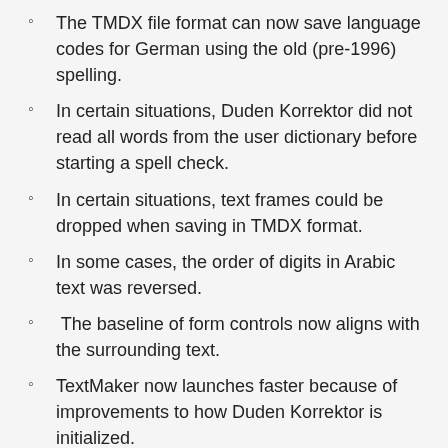The TMDX file format can now save language codes for German using the old (pre-1996) spelling.
In certain situations, Duden Korrektor did not read all words from the user dictionary before starting a spell check.
In certain situations, text frames could be dropped when saving in TMDX format.
In some cases, the order of digits in Arabic text was reversed.
The baseline of form controls now aligns with the surrounding text.
TextMaker now launches faster because of improvements to how Duden Korrektor is initialized.
Certain foreign words are no longer flagged as